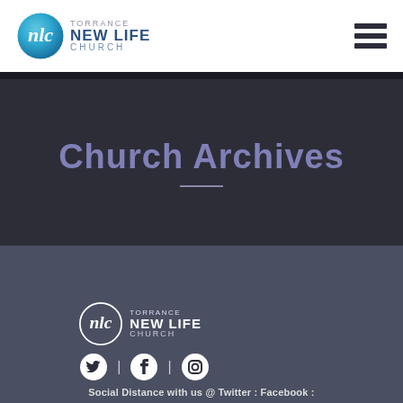[Figure (logo): Torrance New Life Church logo with circular NLC emblem and text]
Church Archives
[Figure (logo): Torrance New Life Church footer logo with social media icons (Twitter, Facebook, Instagram) and text: Social Distance with us @ Twitter : Facebook :]